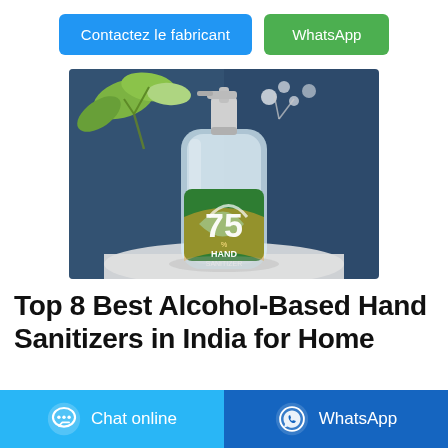Contactez le fabricant
WhatsApp
[Figure (photo): A pump bottle of hand sanitizer with a green label showing '75% HAND SANITIZER', set against a dark blue background with blurred white flowers.]
Top 8 Best Alcohol-Based Hand Sanitizers in India for Home
Chat online
WhatsApp